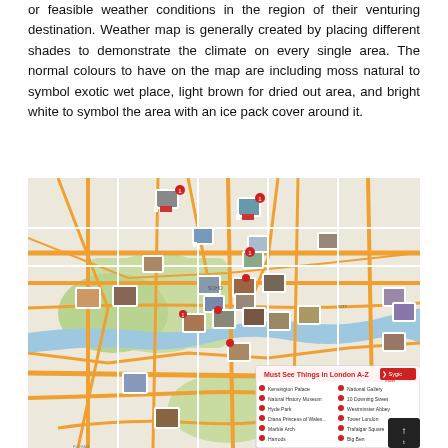or feasible weather conditions in the region of their venturing destination. Weather map is generally created by placing different shades to demonstrate the climate on every single area. The normal colours to have on the map are including moss natural to symbol exotic wet place, light brown for dried out area, and bright white to symbol the area with an ice pack cover around it.
[Figure (map): A street map of London showing tourist attractions marked with small photo thumbnails pinned at various locations. An inset in the lower right corner lists 'Must See Things in London A-Z' with a Sygic Travel logo and a list of attractions including Kensington Palace, Natural History Museum, Hyde Park, Diana Princess of Wales Memorial Fountain, Marble Arch, Harrods, and others in two columns.]